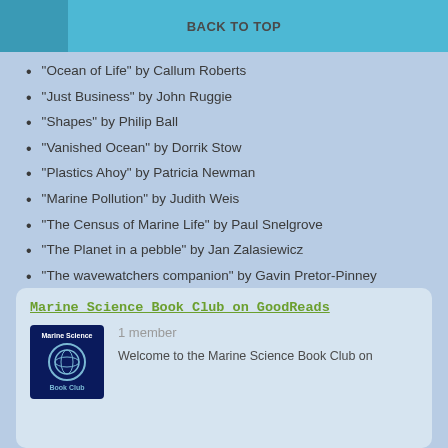BACK TO TOP
“Ocean of Life” by Callum Roberts
“Just Business” by John Ruggie
“Shapes” by Philip Ball
“Vanished Ocean” by Dorrik Stow
“Plastics Ahoy” by Patricia Newman
“Marine Pollution” by Judith Weis
“The Census of Marine Life” by Paul Snelgrove
“The Planet in a pebble” by Jan Zalasiewicz
“The wavewatchers companion” by Gavin Pretor-Pinney
Marine Science Book Club on GoodReads
1 member
Welcome to the Marine Science Book Club on